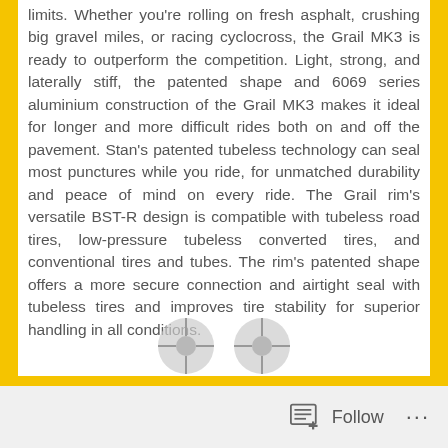limits. Whether you're rolling on fresh asphalt, crushing big gravel miles, or racing cyclocross, the Grail MK3 is ready to outperform the competition. Light, strong, and laterally stiff, the patented shape and 6069 series aluminium construction of the Grail MK3 makes it ideal for longer and more difficult rides both on and off the pavement. Stan's patented tubeless technology can seal most punctures while you ride, for unmatched durability and peace of mind on every ride. The Grail rim's versatile BST-R design is compatible with tubeless road tires, low-pressure tubeless converted tires, and conventional tires and tubes. The rim's patented shape offers a more secure connection and airtight seal with tubeless tires and improves tire stability for superior handling in all conditions.
[Figure (photo): Partial view of two bicycle wheel rims at the bottom of the page]